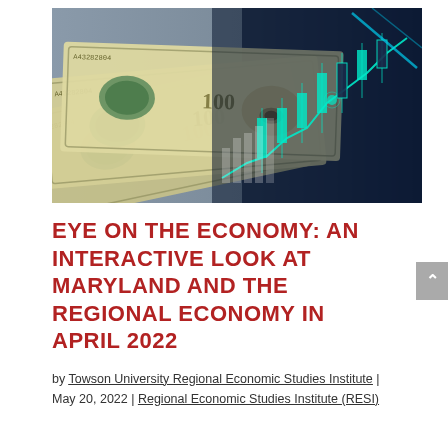[Figure (photo): Hero image showing US $100 bills fanned out with an overlay of glowing teal/cyan financial charts and candlestick graphs against a dark blue background, and Benjamin Franklin's eye visible on one bill.]
EYE ON THE ECONOMY: AN INTERACTIVE LOOK AT MARYLAND AND THE REGIONAL ECONOMY IN APRIL 2022
by Towson University Regional Economic Studies Institute | May 20, 2022 | Regional Economic Studies Institute (RESI)